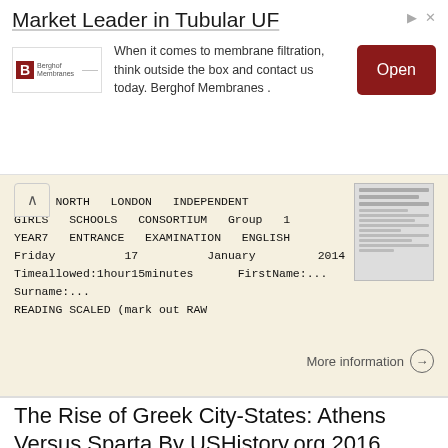[Figure (other): Advertisement banner for Berghof Membranes: 'Market Leader in Tubular UF'. Text: 'When it comes to membrane filtration, think outside the box and contact us today. Berghof Membranes'. With Open button.]
THE NORTH LONDON INDEPENDENT GIRLS SCHOOLS CONSORTIUM Group 1 YEAR7 ENTRANCE EXAMINATION ENGLISH Friday 17 January 2014 Timeallowed:1hour15minutes FirstName:... Surname:... READING SCALED (mark out RAW
More information →
The Rise of Greek City-States: Athens Versus Sparta By USHistory.org 2016
Name: Class: The Rise of Greek City-States: Athens Versus Sparta By USHistory.org 2016 This text details the rise of two great ancient Greek city-states: Athens and